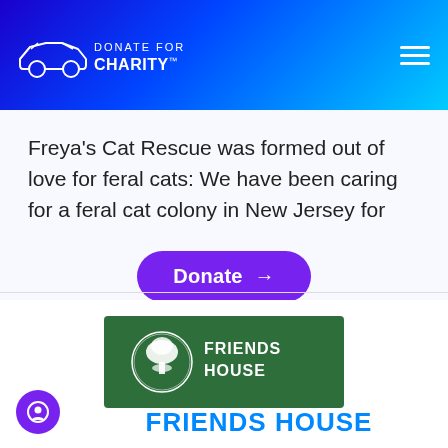Donate for Charity (logo with car icon and hamburger menu)
Freya's Cat Rescue was formed out of love for feral cats: We have been caring for a feral cat colony in New Jersey for
Donate →
[Figure (logo): Friends House logo: green rectangle with tree emblem and text FRIENDS HOUSE]
FRIENDS HOUSE